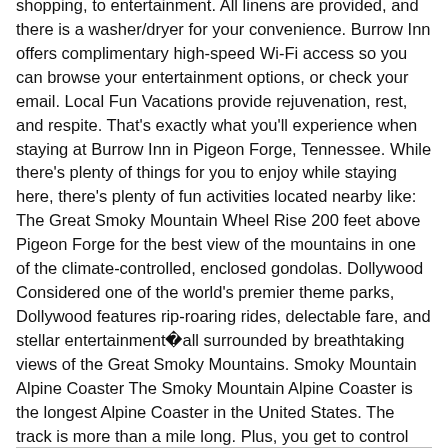shopping, to entertainment. All linens are provided, and there is a washer/dryer for your convenience. Burrow Inn offers complimentary high-speed Wi-Fi access so you can browse your entertainment options, or check your email. Local Fun Vacations provide rejuvenation, rest, and respite. That's exactly what you'll experience when staying at Burrow Inn in Pigeon Forge, Tennessee. While there's plenty of things for you to enjoy while staying here, there's plenty of fun activities located nearby like: The Great Smoky Mountain Wheel Rise 200 feet above Pigeon Forge for the best view of the mountains in one of the climate-controlled, enclosed gondolas. Dollywood Considered one of the world's premier theme parks, Dollywood features rip-roaring rides, delectable fare, and stellar entertainment�all surrounded by breathtaking views of the Great Smoky Mountains. Smoky Mountain Alpine Coaster The Smoky Mountain Alpine Coaster is the longest Alpine Coaster in the United States. The track is more than a mile long. Plus, you get to control how fast your ride is.